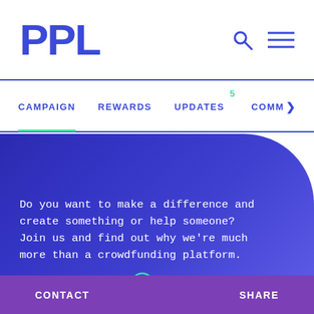PPL
CAMPAIGN   REWARDS   UPDATES 5   COMM >
Do you want to make a difference and create something or help someone? Join us and find out why we're much more than a crowdfunding platform.
How it works
CONTACT   SHARE